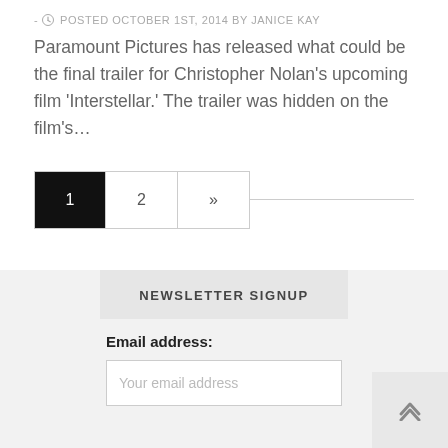- POSTED OCTOBER 1ST, 2014 BY JANICE KAY
Paramount Pictures has released what could be the final trailer for Christopher Nolan’s upcoming film ‘Interstellar.’ The trailer was hidden on the film’s…
1 2 »
NEWSLETTER SIGNUP
Email address:
Your email address